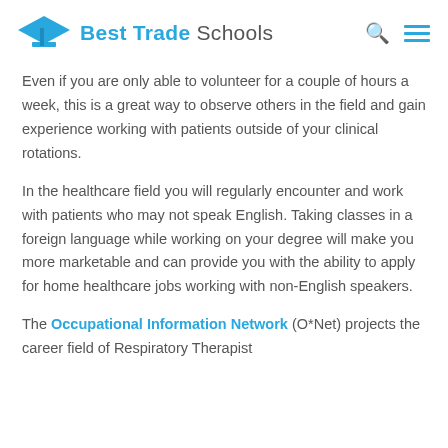Best Trade Schools
Even if you are only able to volunteer for a couple of hours a week, this is a great way to observe others in the field and gain experience working with patients outside of your clinical rotations.
In the healthcare field you will regularly encounter and work with patients who may not speak English. Taking classes in a foreign language while working on your degree will make you more marketable and can provide you with the ability to apply for home healthcare jobs working with non-English speakers.
The Occupational Information Network (O*Net) projects the career field of Respiratory Therapist